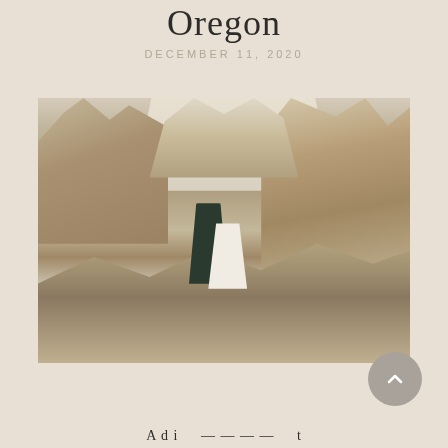Oregon
DECEMBER 11, 2020
[Figure (photo): A couple sharing a kiss/dip in a dramatic rocky desert landscape with tall cliff formations in the background, resembling Smith Rock State Park in Oregon. The bride wears a white dress and the groom wears a dark suit.]
A d i - - - - - t